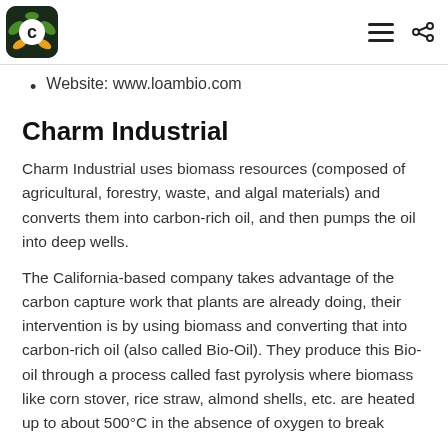Loam Bio app header with logo, hamburger menu, and share icon
Website: www.loambio.com
Charm Industrial
Charm Industrial uses biomass resources (composed of agricultural, forestry, waste, and algal materials) and converts them into carbon-rich oil, and then pumps the oil into deep wells.
The California-based company takes advantage of the carbon capture work that plants are already doing, their intervention is by using biomass and converting that into carbon-rich oil (also called Bio-Oil). They produce this Bio-oil through a process called fast pyrolysis where biomass like corn stover, rice straw, almond shells, etc. are heated up to about 500°C in the absence of oxygen to break